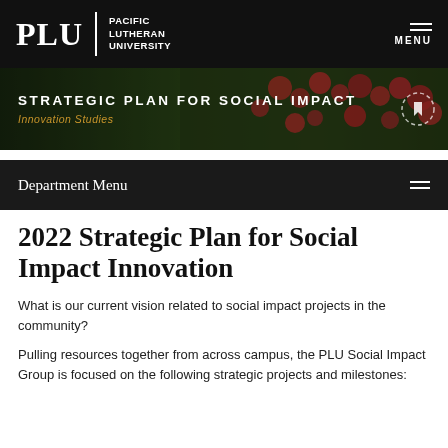PLU | PACIFIC LUTHERAN UNIVERSITY   MENU
[Figure (screenshot): PLU university website hero banner with red flowers in background, showing STRATEGIC PLAN FOR SOCIAL IMPACT heading and Innovation Studies subtitle]
Department Menu
2022 Strategic Plan for Social Impact Innovation
What is our current vision related to social impact projects in the community?
Pulling resources together from across campus, the PLU Social Impact Group is focused on the following strategic projects and milestones: